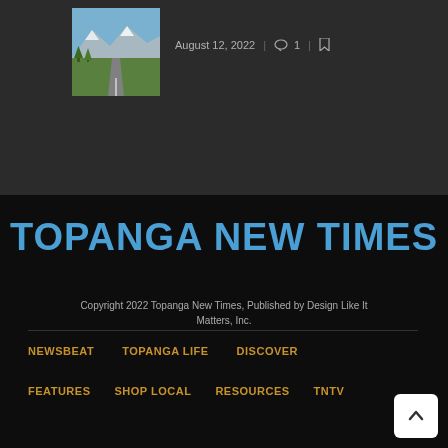[Figure (photo): Small thumbnail photo of a mountain road with green grass and snow-capped mountains in the background]
August 12, 2022  |  1  |
TOPANGA NEW TIMES
Copyright 2022 Topanga New Times, Published by Design Like It Matters, Inc.
NEWSBEAT
TOPANGA LIFE
DISCOVER
FEATURES
SHOP LOCAL
RESOURCES
TNTV